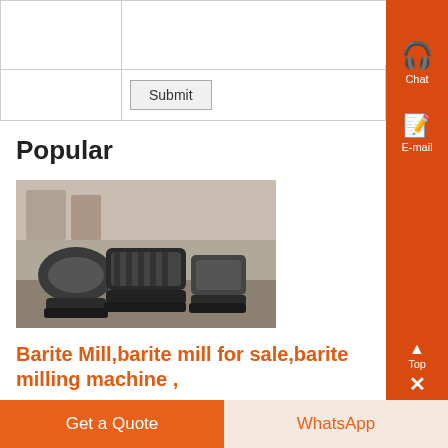|  | (text area) |
|  | Submit |
Popular
[Figure (photo): Industrial machinery parts including gears and motor components on the ground]
Barite Mill,barite mill for sale,barite milling machine ,
barite mill Shanghai Clirik Machinery Co,Ltd is the professional barite grinding mill manufacturer, devoted to the development and selling...